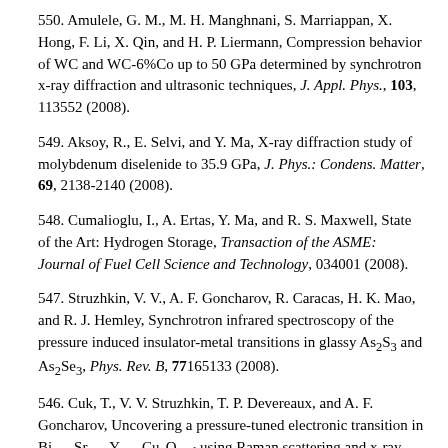550. Amulele, G. M., M. H. Manghnani, S. Marriappan, X. Hong, F. Li, X. Qin, and H. P. Liermann, Compression behavior of WC and WC-6%Co up to 50 GPa determined by synchrotron x-ray diffraction and ultrasonic techniques, J. Appl. Phys., 103, 113552 (2008).
549. Aksoy, R., E. Selvi, and Y. Ma, X-ray diffraction study of molybdenum diselenide to 35.9 GPa, J. Phys.: Condens. Matter, 69, 2138-2140 (2008).
548. Cumalioglu, I., A. Ertas, Y. Ma, and R. S. Maxwell, State of the Art: Hydrogen Storage, Transaction of the ASME: Journal of Fuel Cell Science and Technology, 034001 (2008).
547. Struzhkin, V. V., A. F. Goncharov, R. Caracas, H. K. Mao, and R. J. Hemley, Synchrotron infrared spectroscopy of the pressure induced insulator-metal transitions in glassy As2S3 and As2Se3, Phys. Rev. B, 77165133 (2008).
546. Cuk, T., V. V. Struzhkin, T. P. Devereaux, and A. F. Goncharov, Uncovering a pressure-tuned electronic transition in Bi1.98Sr2.06Y0.68Cu2O8+d using Raman scattering and x-ray diffraction, Phys. Rev. Lett., 100147005 (2008).